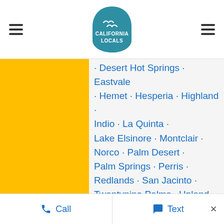[Figure (logo): California Locals logo - teal arched badge shape with seagulls and text CALIFORNIA LOCALS]
Desert Hot Springs · Eastvale · Hemet · Hesperia · Highland · Indio · La Quinta · Lake Elsinore · Montclair · Norco · Palm Desert · Palm Springs · Perris · Redlands · San Jacinto · Twentynine Palms · Upland · Wildomar · Yucaipa ·
Cities and towns 10k–25k
Big Bear City · Bloomington · Blythe · Calimesa · Canyon Lake · Crestline ·